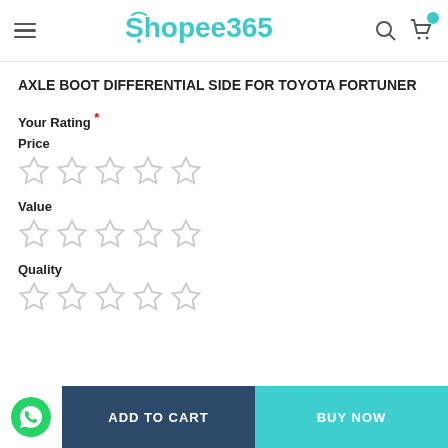Shopee365
AXLE BOOT DIFFERENTIAL SIDE FOR TOYOTA FORTUNER
Your Rating *
Price
Value
Quality
ADD TO CART | BUY NOW